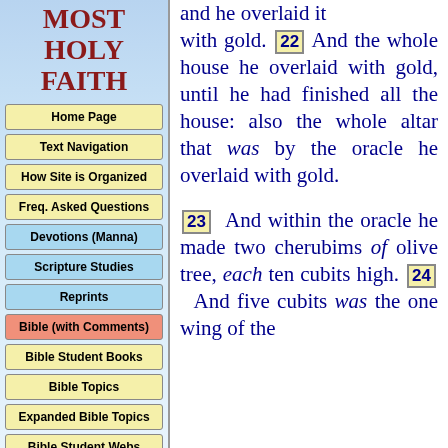MOST HOLY FAITH
Home Page
Text Navigation
How Site is Organized
Freq. Asked Questions
Devotions (Manna)
Scripture Studies
Reprints
Bible (with Comments)
Bible Student Books
Bible Topics
Expanded Bible Topics
Bible Student Webs
Miscellaneous
and he overlaid it with gold. [22] And the whole house he overlaid with gold, until he had finished all the house: also the whole altar that was by the oracle he overlaid with gold. [23] And within the oracle he made two cherubims of olive tree, each ten cubits high. [24] And five cubits was the one wing of the